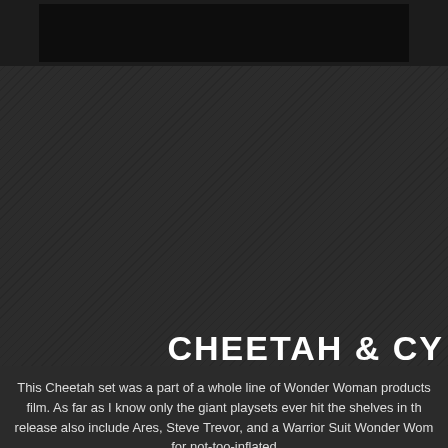[Figure (photo): Dark image area at top of page, partially cropped photo]
CHEETAH & CY
This Cheetah set was a part of a whole line of Wonder Woman products film. As far as I know only the giant playsets ever hit the shelves in th release also include Ares, Steve Trevor, and a Warrior Suit Wonder Wom for not-too-inflated
[Figure (photo): Wonder Woman toy package showing Cheetah figure in yellow blister card packaging with Wonder Woman logo, accessories including a weapon, and a Wonder Woman figure illustration on the side]